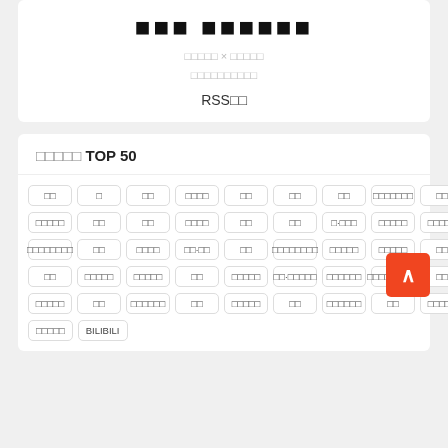[Figure (logo): Bold pixelated logo text in black]
□□□□□ × □□□□□
□□□□□□□□□□
RSS□□
□□□□□ TOP 50
□□ □ □□ □□□□ □□ □□ □□ □□□□□□□ □□ □□ □□
□□□□□ □□ □□ □□□□ □□ □□ □·□□□ □□□□□ □□□□□ □□□□□
□□□□□□□□ □□ □□□□ □□·□□ □□ □□□□□□□□ □□□□□ □□□□□ □□
□□ □□□□□ □□□□□ □□ □□□□□ □□·□□□□□ □□□□□□ □□□□□□□□□ □□
□□□□□ □□ □□□□□□ □□ □□□□□ □□ □□□□□□ □□ □□□□□
□□□□□ BILIBILI